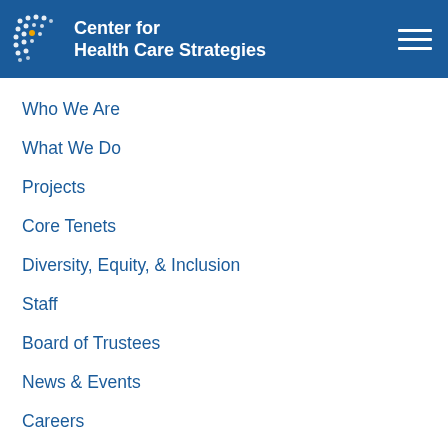[Figure (logo): Center for Health Care Strategies logo with blue background, white dot pattern on left, gold dot accent, and white text reading 'Center for Health Care Strategies']
Who We Are
What We Do
Projects
Core Tenets
Diversity, Equity, & Inclusion
Staff
Board of Trustees
News & Events
Careers
Help with Medicaid/Insurance